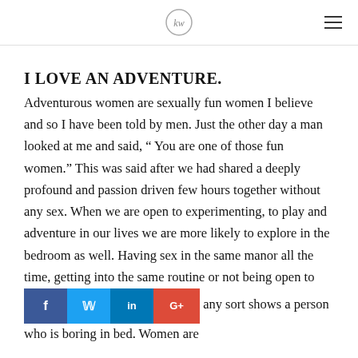[Logo icon] [Menu icon]
I LOVE AN ADVENTURE.
Adventurous women are sexually fun women I believe and so I have been told by men. Just the other day a man looked at me and said, “ You are one of those fun women.” This was said after we had shared a deeply profound and passion driven few hours together without any sex. When we are open to experimenting, to play and adventure in our lives we are more likely to explore in the bedroom as well. Having sex in the same manor all the time, getting into the same routine or not being open to [social share bar] any sort shows a person who is boring in bed. Women are